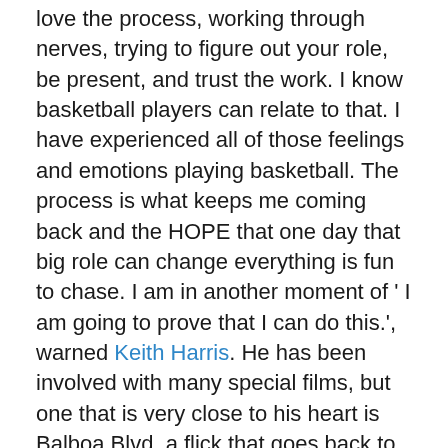love the process, working through nerves, trying to figure out your role, be present, and trust the work. I know basketball players can relate to that. I have experienced all of those feelings and emotions playing basketball. The process is what keeps me coming back and the HOPE that one day that big role can change everything is fun to chase. I am in another moment of ' I am going to prove that I can do this.', warned Keith Harris. He has been involved with many special films, but one that is very close to his heart is Balboa Blvd, a flick that goes back to his roots. It is a story of a young man that has problems dealing with his past, but finds happiness playing basketball by himself. Then a homeless man enters his life showing a love for basketball and totally changes his summer. They form an unlikely duo and team up to play street games for money. Their friendship grows on and off the court and then some confessions come to his past...